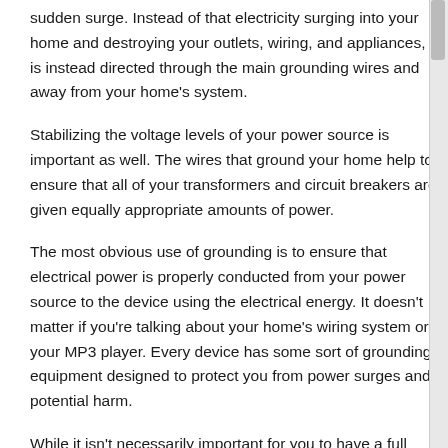sudden surge. Instead of that electricity surging into your home and destroying your outlets, wiring, and appliances, it is instead directed through the main grounding wires and away from your home's system.
Stabilizing the voltage levels of your power source is important as well. The wires that ground your home help to ensure that all of your transformers and circuit breakers are given equally appropriate amounts of power.
The most obvious use of grounding is to ensure that electrical power is properly conducted from your power source to the device using the electrical energy. It doesn't matter if you're talking about your home's wiring system or your MP3 player. Every device has some sort of grounding equipment designed to protect you from power surges and potential harm.
While it isn't necessarily important for you to have a full understanding of how you're home's electrical system works, it is important for you to be able to recognize the importance of the systems put in place to keep you safe. Make sure you get a fair electrical estimate from a qualified electrician in Dover Delaware if you are unsure about your home's electrical panel, wiring, or any appliance.
Local Electrical Contractors Have Your